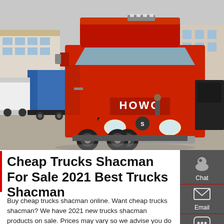[Figure (photo): A red HOWO brand semi-truck/tractor unit parked in a factory yard. The truck faces front-left. Other trucks and industrial buildings are visible in the background.]
Cheap Trucks Shacman For Sale 2021 Best Trucks Shacman
Buy cheap trucks shacman online. Want cheap trucks shacman? We have 2021 new trucks shacman products on sale. Prices may vary so we advise you do a search for Used Trucks Price, Custom Trucks Price, Heavy Duty Trucks Price for comparison shopping before you place an order, then you can get